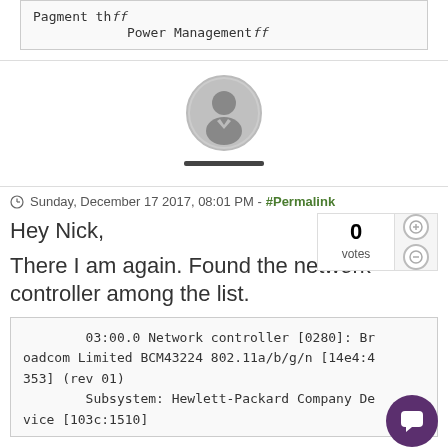Pagment th ff
            Power Managementff
[Figure (illustration): Generic user avatar icon in a circle with a dark horizontal bar below representing a username]
Sunday, December 17 2017, 08:01 PM - #Permalink
Hey Nick,
There I am again. Found the network controller among the list.
03:00.0 Network controller [0280]: Broadcom Limited BCM43224 802.11a/b/g/n [14e4:4353] (rev 01)
        Subsystem: Hewlett-Packard Company Device [103c:1510]